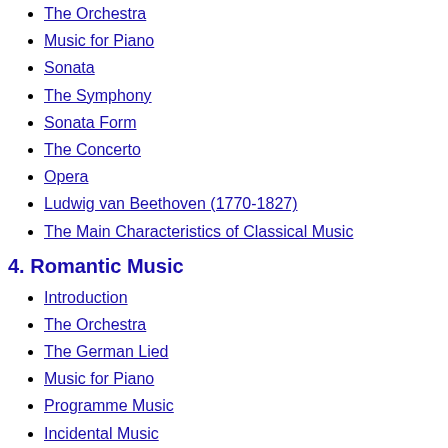The Orchestra
Music for Piano
Sonata
The Symphony
Sonata Form
The Concerto
Opera
Ludwig van Beethoven (1770-1827)
The Main Characteristics of Classical Music
4. Romantic Music
Introduction
The Orchestra
The German Lied
Music for Piano
Programme Music
Incidental Music
Suites
The Concerto
Wagner
19th Century Nationalism
Late Romanticism
The Main Characteristics of Romantic